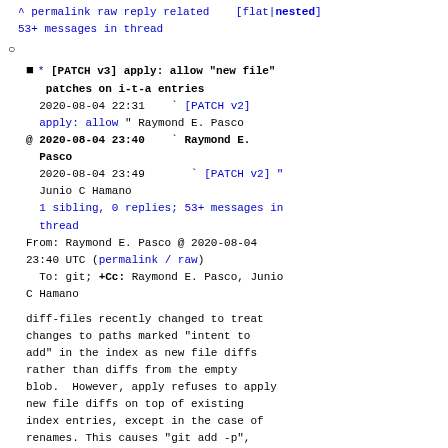^ permalink raw reply related   [flat|nested]
53+ messages in thread
○
* [PATCH v3] apply: allow "new file" patches on i-t-a entries
  2020-08-04 22:31   ` [PATCH v2] apply: allow " Raymond E. Pasco
@ 2020-08-04 23:40   ` Raymond E. Pasco
  2020-08-04 23:49       ` [PATCH v2] " Junio C Hamano
  1 sibling, 0 replies; 53+ messages in thread
From: Raymond E. Pasco @ 2020-08-04 23:40 UTC (permalink / raw)
  To: git; +Cc: Raymond E. Pasco, Junio C Hamano
diff-files recently changed to treat changes to paths marked "intent to add" in the index as new file diffs rather than diffs from the empty blob.  However, apply refuses to apply new file diffs on top of existing index entries, except in the case of renames. This causes "git add -p", which uses apply, to fail when attempting to stage hunks from a file